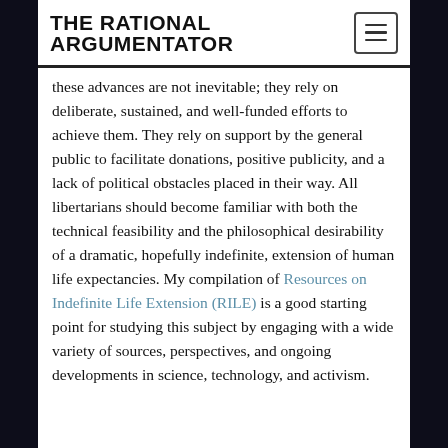THE RATIONAL ARGUMENTATOR
these advances are not inevitable; they rely on deliberate, sustained, and well-funded efforts to achieve them. They rely on support by the general public to facilitate donations, positive publicity, and a lack of political obstacles placed in their way. All libertarians should become familiar with both the technical feasibility and the philosophical desirability of a dramatic, hopefully indefinite, extension of human life expectancies. My compilation of Resources on Indefinite Life Extension (RILE) is a good starting point for studying this subject by engaging with a wide variety of sources, perspectives, and ongoing developments in science, technology, and activism.